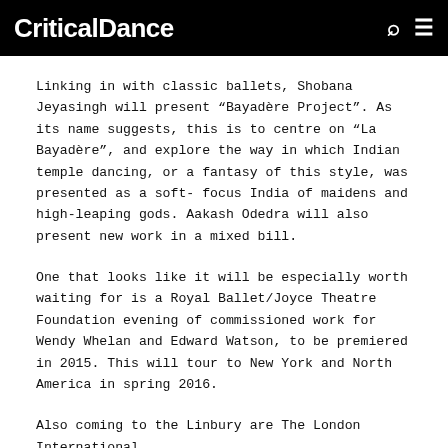CriticalDance
Linking in with classic ballets, Shobana Jeyasingh will present “Bayadère Project”. As its name suggests, this is to centre on “La Bayadère”, and explore the way in which Indian temple dancing, or a fantasy of this style, was presented as a soft-focus India of maidens and high-leaping gods. Aakash Odedra will also present new work in a mixed bill.
One that looks like it will be especially worth waiting for is a Royal Ballet/Joyce Theatre Foundation evening of commissioned work for Wendy Whelan and Edward Watson, to be premiered in 2015. This will tour to New York and North America in spring 2016.
Also coming to the Linbury are The London International